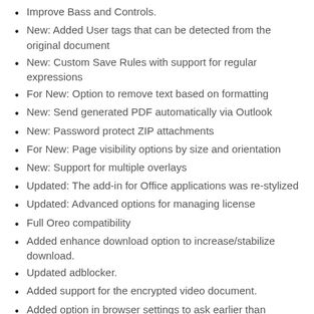Improve Bass and Controls.
New: Added User tags that can be detected from the original document
New: Custom Save Rules with support for regular expressions
For New: Option to remove text based on formatting
New: Send generated PDF automatically via Outlook
New: Password protect ZIP attachments
For New: Page visibility options by size and orientation
New: Support for multiple overlays
Updated: The add-in for Office applications was re-stylized
Updated: Advanced options for managing license
Full Oreo compatibility
Added enhance download option to increase/stabilize download.
Updated adblocker.
Added support for the encrypted video document.
Added option in browser settings to ask earlier than